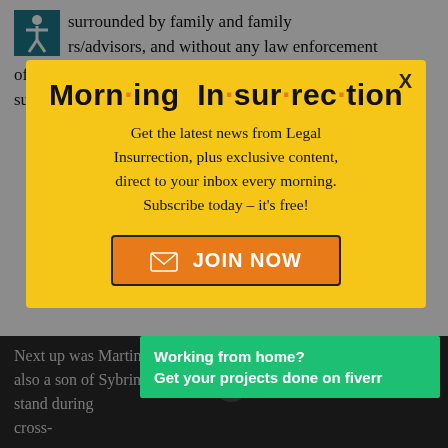surrounded by family and family rs/advisors, and without any law enforcement officer present. Ms. Fulton's credibility was also substantively damaged when she claimed that she
[Figure (infographic): Morning Insurrection newsletter popup modal with yellow background. Title reads 'Morn·ing In·sur·rec·tion' with orange dots as bullet points between syllables. Subtitle: 'Get the latest news from Legal Insurrection, plus exclusive content, direct to your inbox every morning. Subscribe today – it's free!' Orange JOIN NOW button with envelope icon.]
Next up was Martin's half-brother, Janvaris F—n, also a son of Sybrina Fulton. He testified on the stand during cross-
[Figure (infographic): Fiverr advertisement banner in green: 'Working from home? Get your projects done on fiverr']